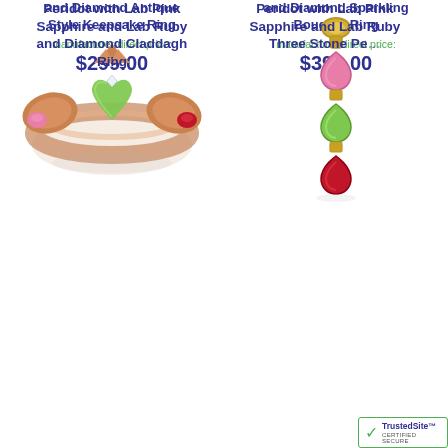and Diamond Antique Style Keepsake Ring
manufacturer-direct price:
$299.00
and Diamond Sparkling Bouquet Ring
manufacturer-direct price:
$399.00
[Figure (photo): Peridot with Lab Pink Sapphire and Lab Ruby and Diamond Claddagh Ring - rose gold ring with green heart-shaped peridot center stone, pink sapphire and ruby accents]
[Figure (photo): Peridot with Lab Pink Sapphire and Lab Ruby Three Stone Pendant - gold pendant with three teardrop stones: pink sapphire, green peridot, and ruby]
Peridot with Lab Pink Sapphire and Lab Ruby and Diamond Claddagh Ring
Peridot with Lab Pink Sapphire and Lab Ruby Three Stone Pe...
[Figure (logo): TrustedSite CERTIFIED SECURE badge with green checkmark]